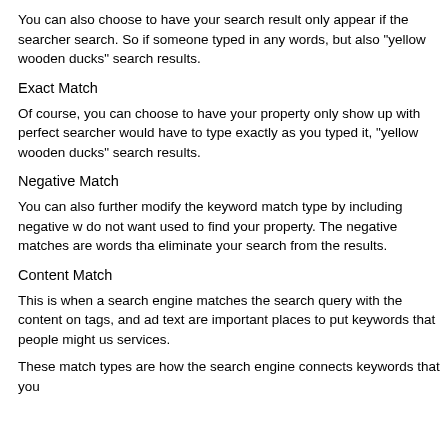You can also choose to have your search result only appear if the searcher search. So if someone typed in any words, but also "yellow wooden ducks" search results.
Exact Match
Of course, you can choose to have your property only show up with perfect searcher would have to type exactly as you typed it, "yellow wooden ducks" search results.
Negative Match
You can also further modify the keyword match type by including negative w do not want used to find your property. The negative matches are words tha eliminate your search from the results.
Content Match
This is when a search engine matches the search query with the content on tags, and ad text are important places to put keywords that people might us services.
These match types are how the search engine connects keywords that you